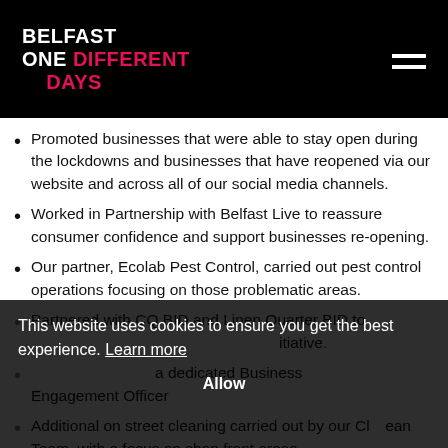BELFAST ONE DIFFERENT DAYS
Promoted businesses that were able to stay open during the lockdowns and businesses that have reopened via our website and across all of our social media channels.
Worked in Partnership with Belfast Live to reassure consumer confidence and support businesses re-opening.
Our partner, Ecolab Pest Control, carried out pest control operations focusing on those problematic areas.
Partnered with CQ BID and Linen Quarter BID to [support a joint marketing initiative].
[Appointed] a dedicated Business Engagement Officer
Additional on street cleaning carried out by our Clean Team, with a focus on shop front areas,
This website uses cookies to ensure you get the best experience. Learn more
Allow